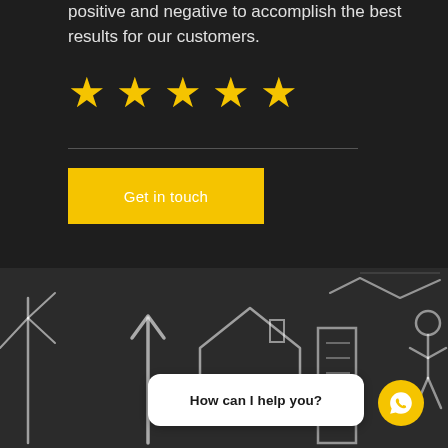positive and negative to accomplish the best results for our customers.
[Figure (illustration): Five yellow star rating icons in a row]
[Figure (illustration): Yellow 'Get in touch' call-to-action button]
[Figure (illustration): Dark chalkboard background with chalk-drawn house, arrow, wind turbine and stick figure. White chat bubble overlay with 'How can I help you?' text and yellow WhatsApp circular button.]